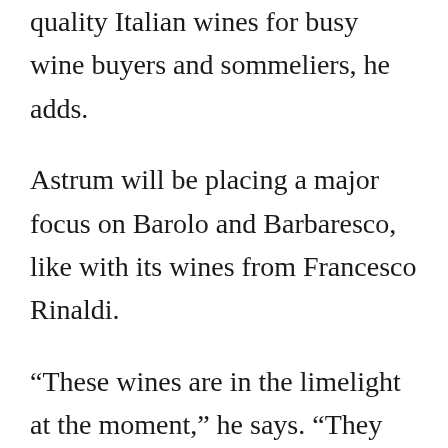quality Italian wines for busy wine buyers and sommeliers, he adds.
Astrum will be placing a major focus on Barolo and Barbaresco, like with its wines from Francesco Rinaldi.
“These wines are in the limelight at the moment,” he says. “They produce world class wines from the venerable Nebbiolo grape. But we will also be showcasing many lesser known indigenous grape varieties which is always of interest to people